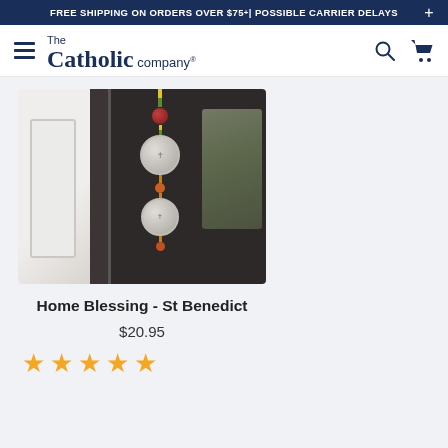FREE SHIPPING ON ORDERS OVER $75+ | POSSIBLE CARRIER DELAYS  +
[Figure (logo): The Catholic Company logo with hamburger menu, search icon, and cart icon in navy blue navigation bar]
[Figure (photo): A St. Benedict home blessing hanging decoration with colorful beads (yellow, green, red) and silver medallion coins, hanging against a dark door frame next to a white door panel]
Home Blessing - St Benedict
$20.95
[Figure (other): Five gold star rating icons]
★★★★★